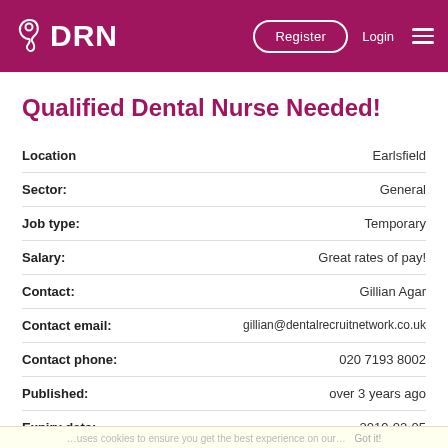DRN | Register | Login
Qualified Dental Nurse Needed!
| Field | Value |
| --- | --- |
| Location | Earlsfield |
| Sector: | General |
| Job type: | Temporary |
| Salary: | Great rates of pay! |
| Contact: | Gillian Agar |
| Contact email: | gillian@dentalrecruitnetwork.co.uk |
| Contact phone: | 020 7193 8002 |
| Published: | over 3 years ago |
| Expiry date: | 2019-02-05 |
| Startdate: | 2019-01-08 |